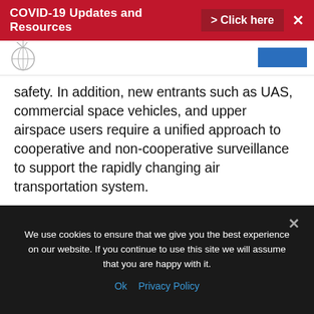COVID-19 Updates and Resources > Click here ✕
[Figure (logo): Circular logo with globe/antenna motif]
safety. In addition, new entrants such as UAS, commercial space vehicles, and upper airspace users require a unified approach to cooperative and non-cooperative surveillance to support the rapidly changing air transportation system.
NATCA has said that the most important thing when looking at major shifts in the use of technology is having the ability to come together with different opinions and leave the
We use cookies to ensure that we give you the best experience on our website. If you continue to use this site we will assume that you are happy with it.
Ok   Privacy Policy